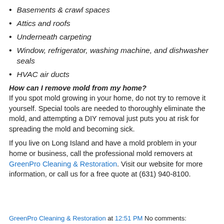Basements & crawl spaces
Attics and roofs
Underneath carpeting
Window, refrigerator, washing machine, and dishwasher seals
HVAC air ducts
How can I remove mold from my home? If you spot mold growing in your home, do not try to remove it yourself. Special tools are needed to thoroughly eliminate the mold, and attempting a DIY removal just puts you at risk for spreading the mold and becoming sick.
If you live on Long Island and have a mold problem in your home or business, call the professional mold removers at GreenPro Cleaning & Restoration. Visit our website for more information, or call us for a free quote at (631) 940-8100.
GreenPro Cleaning & Restoration at 12:51 PM   No comments: